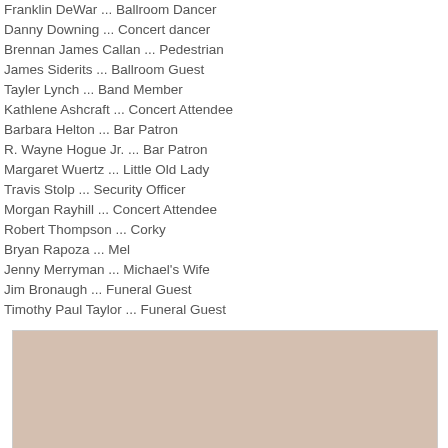Franklin DeWar ... Ballroom Dancer
Danny Downing ... Concert dancer
Brennan James Callan ... Pedestrian
James Siderits ... Ballroom Guest
Tayler Lynch ... Band Member
Kathlene Ashcraft ... Concert Attendee
Barbara Helton ... Bar Patron
R. Wayne Hogue Jr. ... Bar Patron
Margaret Wuertz ... Little Old Lady
Travis Stolp ... Security Officer
Morgan Rayhill ... Concert Attendee
Robert Thompson ... Corky
Bryan Rapoza ... Mel
Jenny Merryman ... Michael's Wife
Jim Bronaugh ... Funeral Guest
Timothy Paul Taylor ... Funeral Guest
[Figure (photo): Two people photographed against a light beige/pink background with green plant leaves visible at top left. A young man with curly hair is on the left, and a woman with long brown hair is on the right, both partially cropped.]